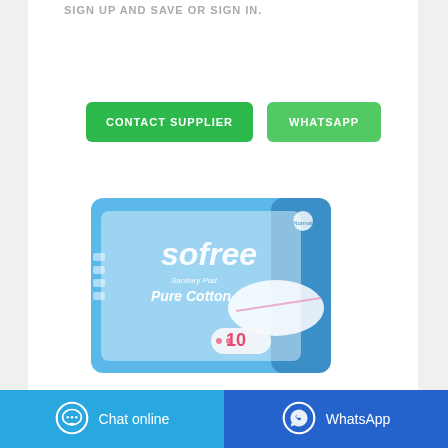SIGN UP AND SAVE OR SIGN IN.
[Figure (other): Two green call-to-action buttons: 'CONTACT SUPPLIER' and 'WHATSAPP']
[Figure (photo): Product photo of Sofree Sanitary Pad Pure Cotton package, blue packaging with count of 10 pads shown]
Chat online
WhatsApp